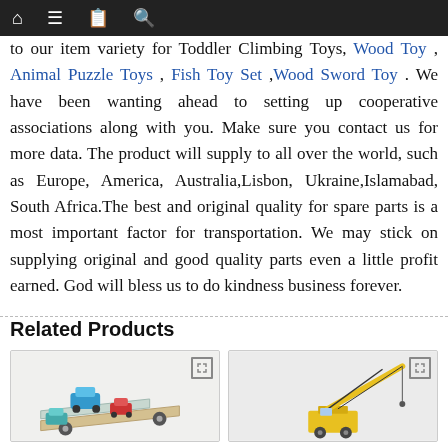[navigation bar with home, menu, notebook, and search icons]
to our item variety for Toddler Climbing Toys, Wood Toy , Animal Puzzle Toys , Fish Toy Set ,Wood Sword Toy . We have been wanting ahead to setting up cooperative associations along with you. Make sure you contact us for more data. The product will supply to all over the world, such as Europe, America, Australia,Lisbon, Ukraine,Islamabad, South Africa.The best and original quality for spare parts is a most important factor for transportation. We may stick on supplying original and good quality parts even a little profit earned. God will bless us to do kindness business forever.
Related Products
[Figure (photo): Wooden car carrier toy with colorful cars (blue, red) on a ramp]
[Figure (photo): Yellow wooden crane toy against a light background]